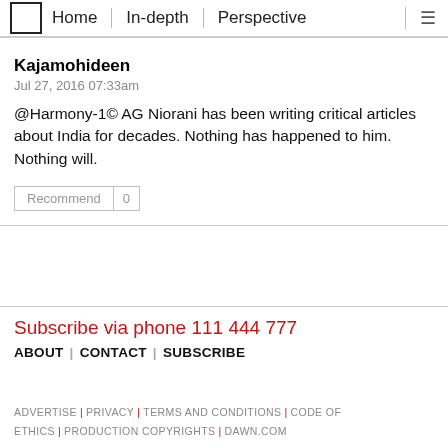Home | In-depth | Perspective
Kajamohideen
Jul 27, 2016 07:33am
@Harmony-1© AG Niorani has been writing critical articles about India for decades. Nothing has happened to him. Nothing will.
Recommend | 0
Subscribe via phone 111 444 777
ABOUT | CONTACT | SUBSCRIBE
ADVERTISE | PRIVACY | TERMS AND CONDITIONS | CODE OF ETHICS | PRODUCTION COPYRIGHTS | DAWN.COM